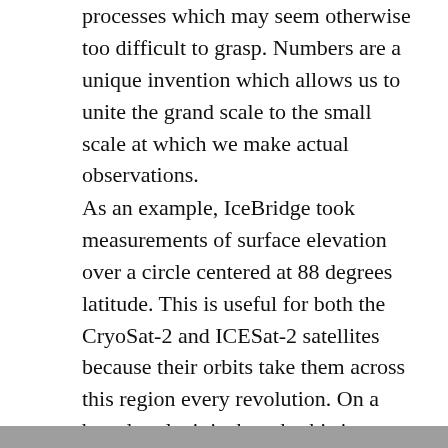processes which may seem otherwise too difficult to grasp. Numbers are a unique invention which allows us to unite the grand scale to the small scale at which we make actual observations.
As an example, IceBridge took measurements of surface elevation over a circle centered at 88 degrees latitude. This is useful for both the CryoSat-2 and ICESat-2 satellites because their orbits take them across this region every revolution. On a broad scale, it is thought this is a useful target area because it is located on a part of the polar plateau which is not expected to change significantly in time.